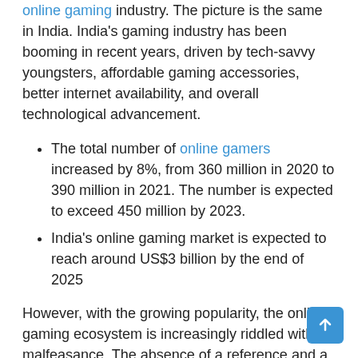online gaming industry. The picture is the same in India. India's gaming industry has been booming in recent years, driven by tech-savvy youngsters, affordable gaming accessories, better internet availability, and overall technological advancement.
The total number of online gamers increased by 8%, from 360 million in 2020 to 390 million in 2021. The number is expected to exceed 450 million by 2023.
India's online gaming market is expected to reach around US$3 billion by the end of 2025
However, with the growing popularity, the online gaming ecosystem is increasingly riddled with malfeasance. The absence of a reference and a tool to eradicate bad practices has further intensified the ecosystem. Therefore, this partnership between Shinkan and AIGF is a promising step for the Indian online gaming industry in the future.
Commenting on the partnership, Abhijit SaxenaFounder of Shinkan, said: "Monitoring is like having an overseer watching